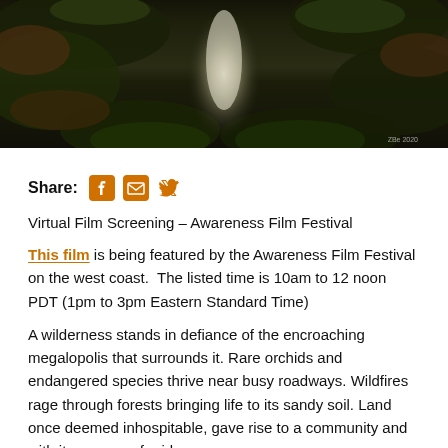[Figure (photo): Aerial or ground-level view of a forested path or stream with dark foliage of pine needles, leaves, and plants framing a bright central corridor. Watermark '2020' visible in lower right.]
Share:
Virtual Film Screening – Awareness Film Festival
This film is being featured by the Awareness Film Festival on the west coast.  The listed time is 10am to 12 noon PDT (1pm to 3pm Eastern Standard Time)
A wilderness stands in defiance of the encroaching megalopolis that surrounds it. Rare orchids and endangered species thrive near busy roadways. Wildfires rage through forests bringing life to its sandy soil. Land once deemed inhospitable, gave rise to a community and with it, a sense of pride.